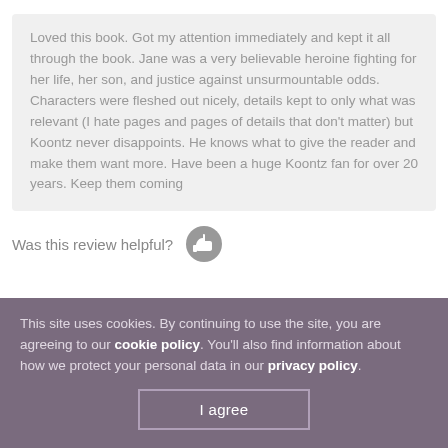Loved this book. Got my attention immediately and kept it all through the book. Jane was a very believable heroine fighting for her life, her son, and justice against unsurmountable odds. Characters were fleshed out nicely, details kept to only what was relevant (I hate pages and pages of details that don't matter) but Koontz never disappoints. He knows what to give the reader and make them want more. Have been a huge Koontz fan for over 20 years. Keep them coming
Was this review helpful?
This site uses cookies. By continuing to use the site, you are agreeing to our cookie policy. You'll also find information about how we protect your personal data in our privacy policy.
I agree